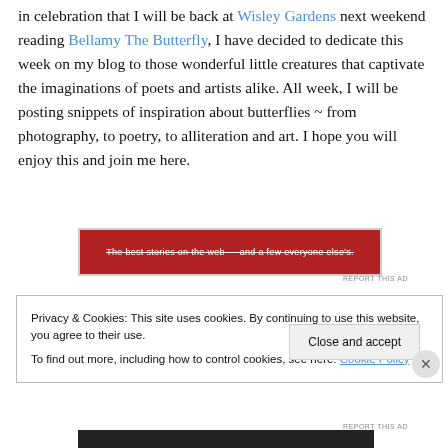in celebration that I will be back at Wisley Gardens next weekend reading Bellamy The Butterfly, I have decided to dedicate this week on my blog to those wonderful little creatures that captivate the imaginations of poets and artists alike. All week, I will be posting snippets of inspiration about butterflies ~ from photography, to poetry, to alliteration and art. I hope you will enjoy this and join me here.
[Figure (other): Red advertisement banner with white strikethrough text reading 'The best stories on the web — and a few everyone else's.']
REPORT THIS AD
Privacy & Cookies: This site uses cookies. By continuing to use this website, you agree to their use. To find out more, including how to control cookies, see here: Cookie Policy
Close and accept